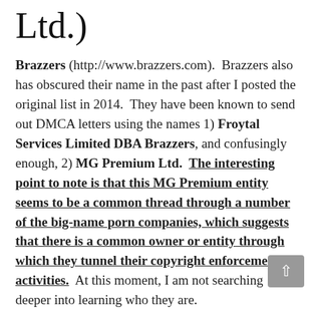Ltd.)
Brazzers (http://www.brazzers.com). Brazzers also has obscured their name in the past after I posted the original list in 2014. They have been known to send out DMCA letters using the names 1) Froytal Services Limited DBA Brazzers, and confusingly enough, 2) MG Premium Ltd. The interesting point to note is that this MG Premium entity seems to be a common thread through a number of the big-name porn companies, which suggests that there is a common owner or entity through which they tunnel their copyright enforcement activities. At this moment, I am not searching deeper into learning who they are.
Brazzers is another a giant corporation, comprising 47+ separated brand names, each of which have their own